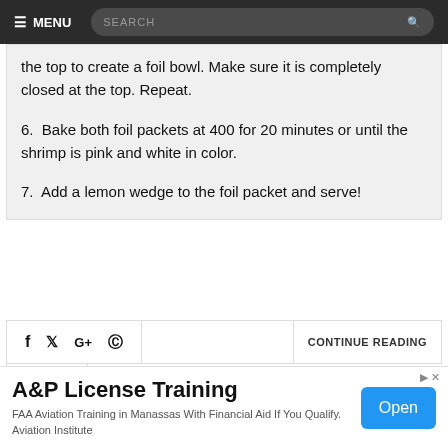☰ MENU   SEARCH 🔍
the top to create a foil bowl. Make sure it is completely closed at the top. Repeat.
6. Bake both foil packets at 400 for 20 minutes or until the shrimp is pink and white in color.
7. Add a lemon wedge to the foil packet and serve!
f  🐦  G+  𝓟   CONTINUE READING
[Figure (infographic): Advertisement banner: A&P License Training - FAA Aviation Training in Manassas With Financial Aid If You Qualify. Aviation Institute. Open button.]